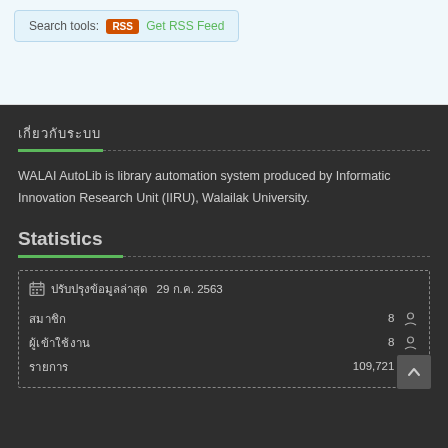Search tools: [RSS] Get RSS Feed
เกี่ยวกับระบบ
WALAI AutoLib is library automation system produced by Informatic Innovation Research Unit (IIRU), Walailak University.
Statistics
|  |  |
| --- | --- |
| ปรับปรุงข้อมูลล่าสุด  29 ก.ค. 2563 |  |
| สมาชิก | 8 |
| ผู้เข้าใช้งาน | 8 |
| รายการ | 109,721 |